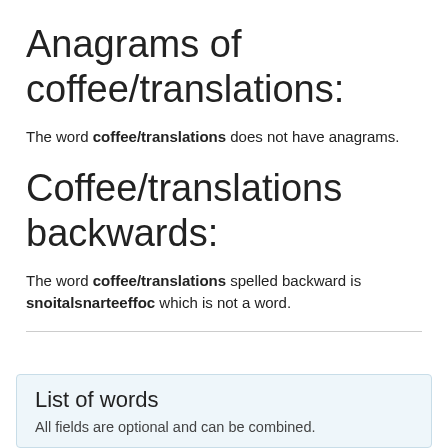Anagrams of coffee/translations:
The word coffee/translations does not have anagrams.
Coffee/translations backwards:
The word coffee/translations spelled backward is snoitalsnarteeffoc which is not a word.
List of words
All fields are optional and can be combined.